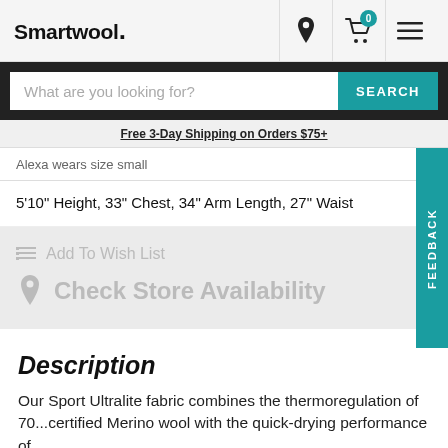Smartwool.
What are you looking for?
Free 3-Day Shipping on Orders $75+
Alexa wears size small
5'10" Height, 33" Chest, 34" Arm Length, 27" Waist
Add To Wish List
Check Store Availability
Description
Our Sport Ultralite fabric combines the thermoregulation of 70...certified Merino wool with the quick-drying performance of